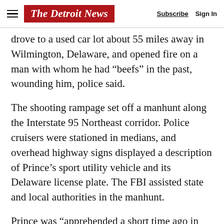The Detroit News | Subscribe | Sign In
drove to a used car lot about 55 miles away in Wilmington, Delaware, and opened fire on a man with whom he had “beefs” in the past, wounding him, police said.
The shooting rampage set off a manhunt along the Interstate 95 Northeast corridor. Police cruisers were stationed in medians, and overhead highway signs displayed a description of Prince’s sport utility vehicle and its Delaware license plate. The FBI assisted state and local authorities in the manhunt.
Prince was “apprehended a short time ago in Delaware by ATF and allied law enforcement agencies,” the Harford County Sheriff’s Office in